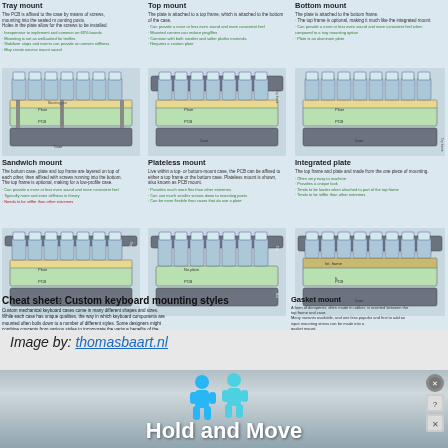[Figure (infographic): Cheat sheet infographic showing custom keyboard mounting styles including Tray mount, Top mount, Bottom mount, Sandwich mount, Plateless mount, Integrated plate, Gasket mount. Each style has a diagram and bullet point descriptions. Created by Thomas Baart / thomasbaart.nl]
Image by: thomasbaart.nl
[Figure (screenshot): Advertisement banner showing 'Hold and Move' with two blue cartoon figures, on a blurred light background. Has close/X buttons in upper right corner.]